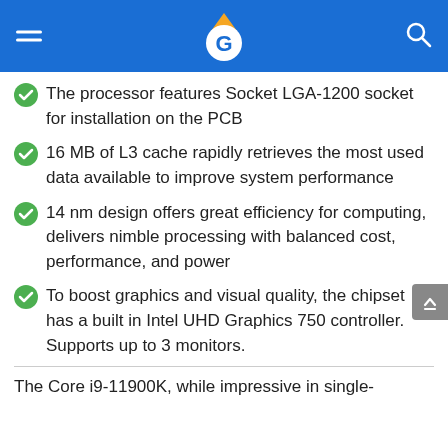Geeky header with logo and navigation
The processor features Socket LGA-1200 socket for installation on the PCB
16 MB of L3 cache rapidly retrieves the most used data available to improve system performance
14 nm design offers great efficiency for computing, delivers nimble processing with balanced cost, performance, and power
To boost graphics and visual quality, the chipset has a built in Intel UHD Graphics 750 controller. Supports up to 3 monitors.
The Core i9-11900K, while impressive in single-